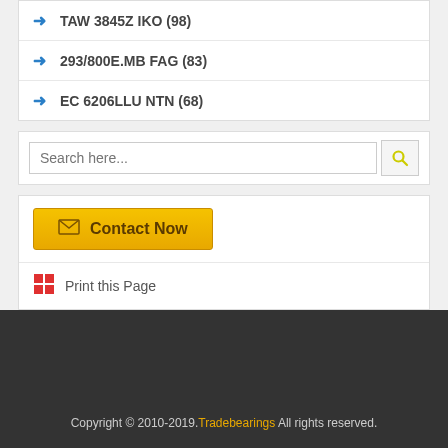TAW 3845Z IKO (98)
293/800E.MB FAG (83)
EC 6206LLU NTN (68)
Search here...
Contact Now
Print this Page
Copyright © 2010-2019. Tradebearings All rights reserved.